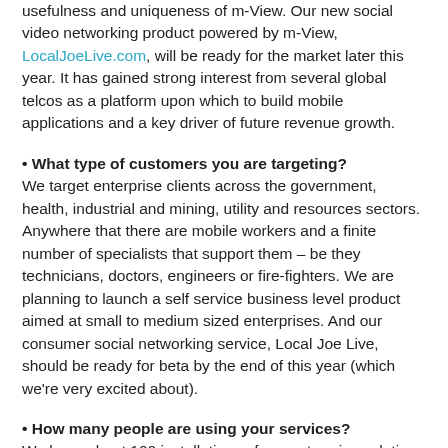usefulness and uniqueness of m-View. Our new social video networking product powered by m-View, LocalJoeLive.com, will be ready for the market later this year. It has gained strong interest from several global telcos as a platform upon which to build mobile applications and a key driver of future revenue growth.
• What type of customers you are targeting? We target enterprise clients across the government, health, industrial and mining, utility and resources sectors. Anywhere that there are mobile workers and a finite number of specialists that support them – be they technicians, doctors, engineers or fire-fighters. We are planning to launch a self service business level product aimed at small to medium sized enterprises. And our consumer social networking service, Local Joe Live, should be ready for beta by the end of this year (which we're very excited about).
• How many people are using your services? We have about 100 installations of our enterprise solution. For our self service business-level product, we anticipate a high-volume of sales. And with Local Joe Live, we're aiming for millions of users.